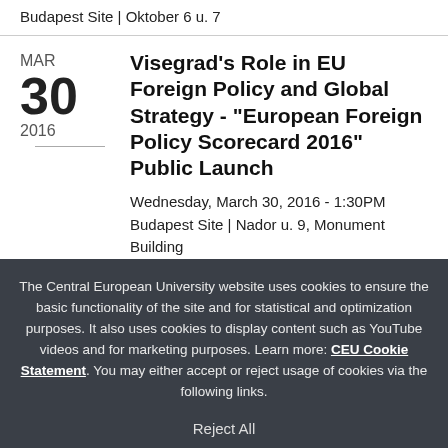Budapest Site | Oktober 6 u. 7
Visegrad's Role in EU Foreign Policy and Global Strategy - "European Foreign Policy Scorecard 2016" Public Launch
Wednesday, March 30, 2016 - 1:30PM
Budapest Site | Nador u. 9, Monument Building
The Central European University website uses cookies to ensure the basic functionality of the site and for statistical and optimization purposes. It also uses cookies to display content such as YouTube videos and for marketing purposes. Learn more: CEU Cookie Statement. You may either accept or reject usage of cookies via the following links.
Reject All